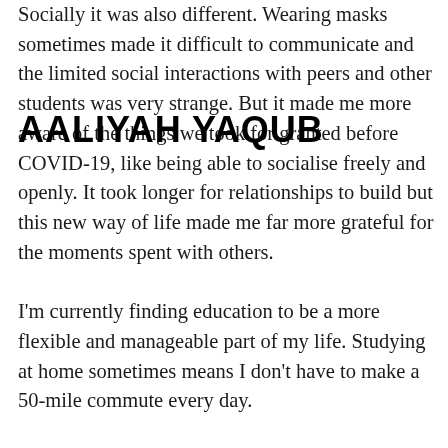AALIYAH YAQUB
Socially it was also different. Wearing masks sometimes made it difficult to communicate and the limited social interactions with peers and other students was very strange. But it made me more aware of the things we took for granted before COVID-19, like being able to socialise freely and openly. It took longer for relationships to build but this new way of life made me far more grateful for the moments spent with others. I'm currently finding education to be a more flexible and manageable part of my life. Studying at home sometimes means I don't have to make a 50-mile commute every day. Although it can feel repetitive – and my eyes sometimes don't thank me